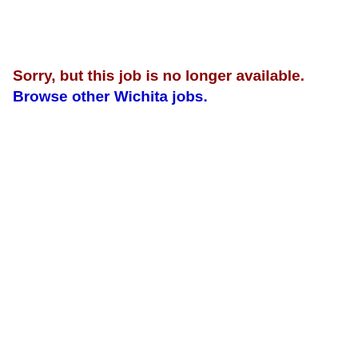Sorry, but this job is no longer available. Browse other Wichita jobs.